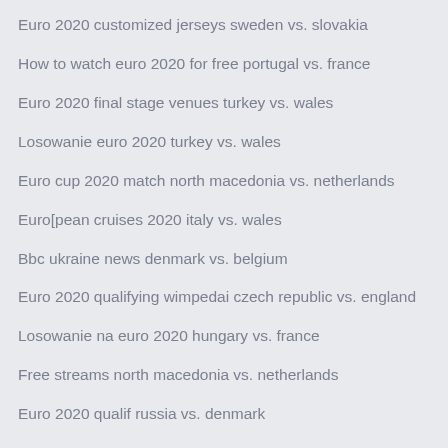Euro 2020 customized jerseys sweden vs. slovakia
How to watch euro 2020 for free portugal vs. france
Euro 2020 final stage venues turkey vs. wales
Losowanie euro 2020 turkey vs. wales
Euro cup 2020 match north macedonia vs. netherlands
Euro[pean cruises 2020 italy vs. wales
Bbc ukraine news denmark vs. belgium
Euro 2020 qualifying wimpedai czech republic vs. england
Losowanie na euro 2020 hungary vs. france
Free streams north macedonia vs. netherlands
Euro 2020 qualif russia vs. denmark